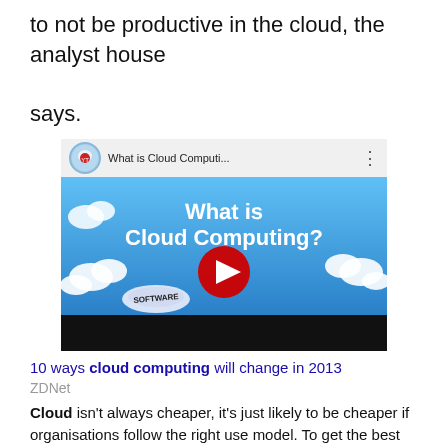to not be productive in the cloud, the analyst house says.
[Figure (screenshot): YouTube video thumbnail showing 'What is Cloud Computing?' with a blue sky background, clouds, play button, and software badge.]
10 ways cloud computing will change in 2013
ZDNet
Cloud isn't always cheaper, it's just likely to be cheaper if organisations follow the right use model. To get the best ROI out